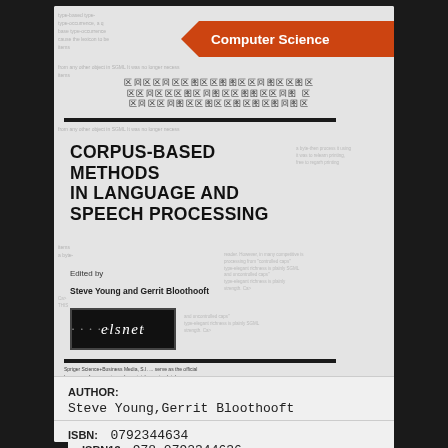[Figure (illustration): Book cover for 'Corpus-Based Methods in Language and Speech Processing' with orange Computer Science banner, edited by Steve Young and Gerrit Bloothooft, with elsnet logo and Springer Science+Business Media publisher mark.]
AUTHOR:
Steve Young,Gerrit Bloothooft
ISBN:   0792344634
ISBN13:  978-0792344636